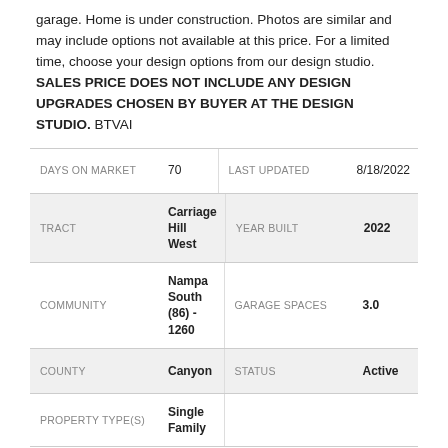garage. Home is under construction. Photos are similar and may include options not available at this price. For a limited time, choose your design options from our design studio. SALES PRICE DOES NOT INCLUDE ANY DESIGN UPGRADES CHOSEN BY BUYER AT THE DESIGN STUDIO. BTVAI
| Field | Value | Field | Value |
| --- | --- | --- | --- |
| DAYS ON MARKET | 70 | LAST UPDATED | 8/18/2022 |
| TRACT | Carriage Hill West | YEAR BUILT | 2022 |
| COMMUNITY | Nampa South (86) - 1260 | GARAGE SPACES | 3.0 |
| COUNTY | Canyon | STATUS | Active |
| PROPERTY TYPE(S) | Single Family |  |  |
SCHOOLS